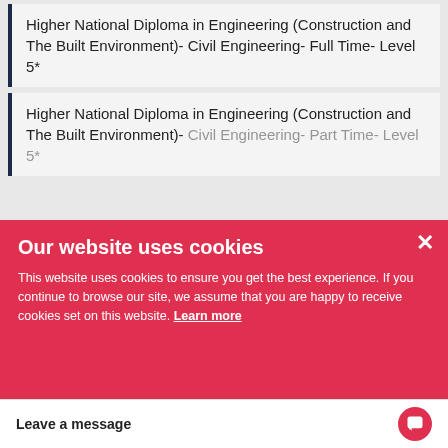Higher National Diploma in Engineering (Construction and The Built Environment)- Civil Engineering- Full Time- Level 5*
Higher National Diploma in Engineering (Construction and The Built Environment)- Civil Engineering- Part Time- Level 5*
Higher National Diploma in Engineering (Electrical and Electronic Engineering)- Full Time- Level 5- 1 year
Higher National Diploma in Engineering (Electrical and Electronic Engineering)- Part Time- Level 5
Our website uses cookies
This website uses cookies to ensure you get the best experience. If you continue to browse our site, we assume that you are happy to receive cookies set on this website. Learn more
Okay, Got It
Leave a message